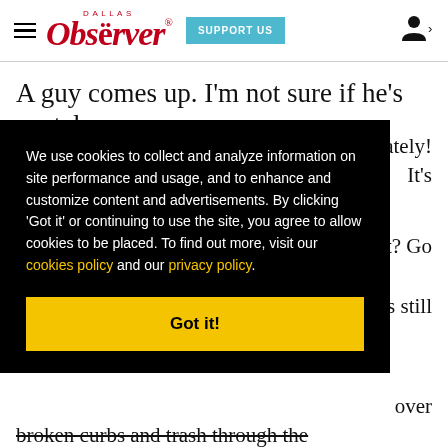Dallas Observer — SUPPORT US — [user icon]
A guy comes up. I'm not sure if he's postal or
[Figure (screenshot): Cookie consent overlay on black background with text: 'We use cookies to collect and analyze information on site performance and usage, and to enhance and customize content and advertisements. By clicking Got it or continuing to use the site, you agree to allow cookies to be placed. To find out more, visit our cookies policy and our privacy policy.' with a yellow 'Got it!' button.]
...ately! ...It's ...t? Go ...s still ...over broken curbs and trash through the